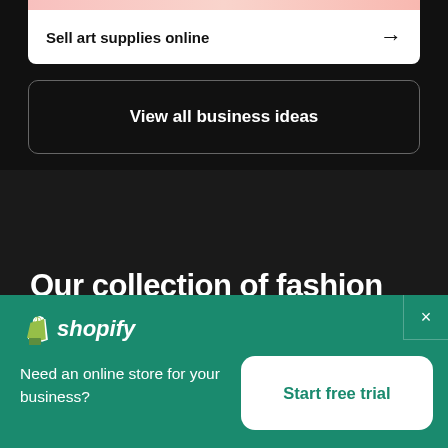Sell art supplies online →
View all business ideas
Our collection of fashion
[Figure (logo): Shopify logo with shopping bag icon and italic wordmark]
Need an online store for your business?
Start free trial